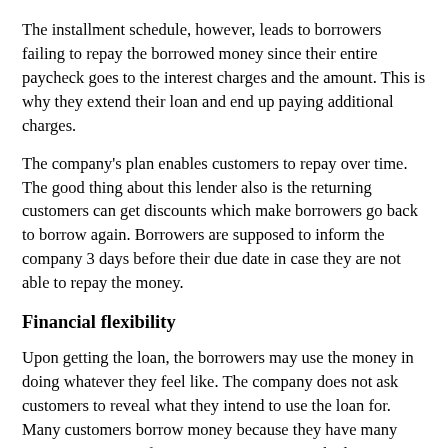The installment schedule, however, leads to borrowers failing to repay the borrowed money since their entire paycheck goes to the interest charges and the amount. This is why they extend their loan and end up paying additional charges.
The company's plan enables customers to repay over time. The good thing about this lender also is the returning customers can get discounts which make borrowers go back to borrow again. Borrowers are supposed to inform the company 3 days before their due date in case they are not able to repay the money.
Financial flexibility
Upon getting the loan, the borrowers may use the money in doing whatever they feel like. The company does not ask customers to reveal what they intend to use the loan for. Many customers borrow money because they have many expenses to cover, for instance, repairing a vehicle. However, there are others who just need money in case of an emergency. The loan may also be used to pay utility bills, rent, school fees and so forth.
Conclusion
Just like in all payday or short-term lending companies, borrowers